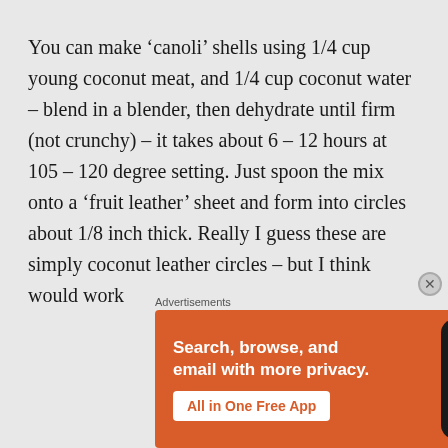You can make ‘canoli’ shells using 1/4 cup young coconut meat, and 1/4 cup coconut water – blend in a blender, then dehydrate until firm (not crunchy) – it takes about 6 – 12 hours at 105 – 120 degree setting. Just spoon the mix onto a ‘fruit leather’ sheet and form into circles about 1/8 inch thick. Really I guess these are simply coconut leather circles – but I think would work
Advertisements
[Figure (other): DuckDuckGo advertisement banner with orange background. Text reads: Search, browse, and email with more privacy. All in One Free App. Shows a dark smartphone with DuckDuckGo logo.]